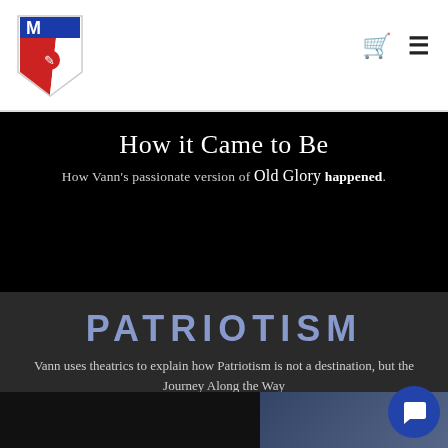Navigation header with logo (M with eagle) and cart/menu icons
How it Came to Be
How Vann's passionate version of Old Glory happened.
PATRIOTISM
Vann uses theatrics to explain how Patriotism is not a destination, but the Journey Along the Way
[Figure (screenshot): Video thumbnail showing 'Patriotism - The Spoken Word. Th...' with globe/flag icon and a person in background]
[Figure (other): Blue circular chat button with speech bubble icon]